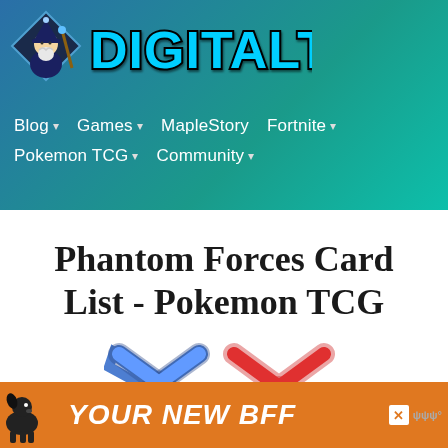[Figure (logo): DigitalLQ website header with wizard mascot logo and stylized DigitalLQ text logo on blue-teal gradient background]
Blog  Games  MapleStory  Fortnite  Pokemon TCG  Community
Phantom Forces Card List - Pokemon TCG
[Figure (logo): Pokemon XY series logo in red and blue stylized lettering]
[Figure (photo): Advertisement banner: dog photo with text YOUR NEW BFF on orange background]